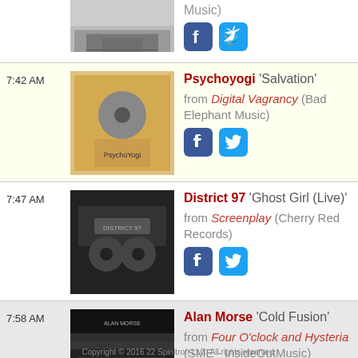Partial entry at top: album image and 'Music)' text with Facebook and Twitter icons
7:42 AM — Psychoyogi 'Salvation' from Digital Vagrancy (Bad Elephant Music)
7:47 AM — District 97 'Ghost Girl (Live)' from Screenplay (Cherry Red Records)
7:58 AM — Alan Morse 'Cold Fusion' from Four O'clock and Hysteria (SME - InsideOutMusic)
Copyright © 2016 22 Spinitron LLC. All rights reserved.